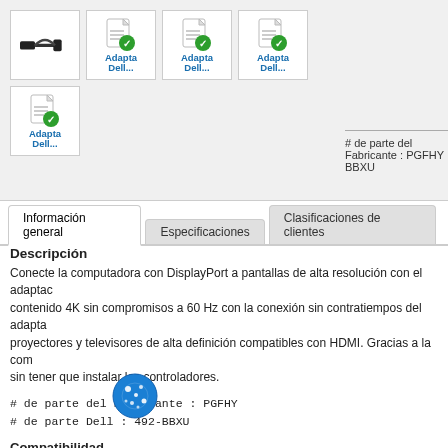[Figure (screenshot): Product image gallery showing a DisplayPort to HDMI adapter (cable thumbnail) and four document/PDF thumbnail icons labeled 'Adapta Dell...']
# de parte del Fabricante : PGFHY BBXU
Información general | Especificaciones | Clasificaciones de clientes
Descripción
Conecte la computadora con DisplayPort a pantallas de alta resolución con el adaptado contenido 4K sin compromisos a 60 Hz con la conexión sin contratiempos del adaptad proyectores y televisores de alta definición compatibles con HDMI. Gracias a la com sin tener que instalar los controladores.
# de parte del Fabricante : PGFHY
# de parte Dell : 492-BBXU
Compatibilidad
Este producto es compatible con los siguientes sistemas:
Alienware Area-51 R3
Alienware Area-51 R4
Alienware Area-51 R7
Alienware Aurora R10
Alienware Aurora R11
Alienware Aurora R5